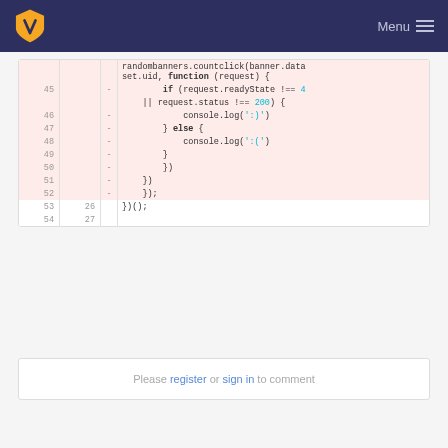Menu
[Figure (screenshot): Code diff view showing JavaScript lines 45-54 with deleted lines highlighted in red/pink. Lines 45-52 are deleted (marked with '-'), showing code for randombanners.countclick with if/else handling request.readyState and request.status. Lines 53-54 are unchanged showing })(). and empty line 27.]
Please register or sign in to comment